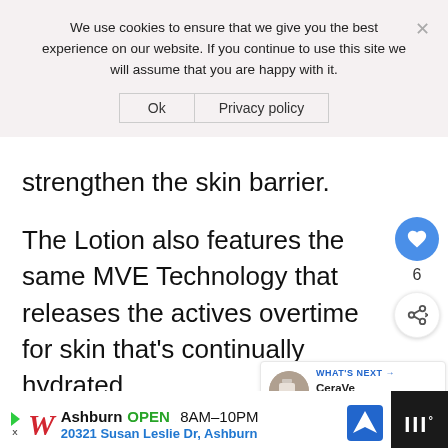We use cookies to ensure that we give you the best experience on our website. If you continue to use this site we will assume that you are happy with it.
Ok   Privacy policy
strengthen the skin barrier.
The Lotion also features the same MVE Technology that releases the actives overtime for skin that's continually hydrated.
[Figure (screenshot): Social share sidebar with heart/like button showing count 6, and a share button]
[Figure (screenshot): What's Next promo tile showing CeraVe Healing... product with thumbnail image]
[Figure (screenshot): Walgreens advertisement bar: Ashburn OPEN 8AM-10PM, 20321 Susan Leslie Dr, Ashburn, with navigation icon and dark section on right]